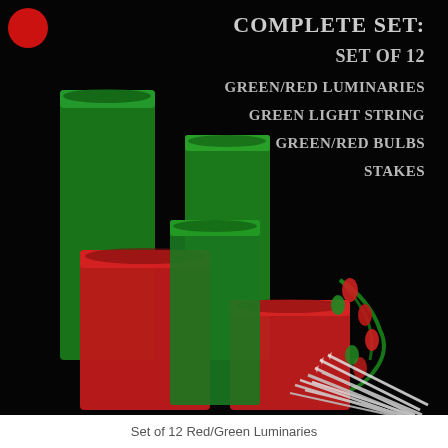[Figure (photo): Product photo on black background showing a set of green and red plastic luminaries (open-top square containers) stacked together, with a green light string with red and green bulbs, and a bundle of white stakes. Text overlay on dark background reads: 'Complete Set: Set of 12 / Green/Red Luminaries / Green Light String / Green/Red Bulbs / Stakes'. A red circular logo is in the top-left corner.]
Set of 12 Red/Green Luminaries